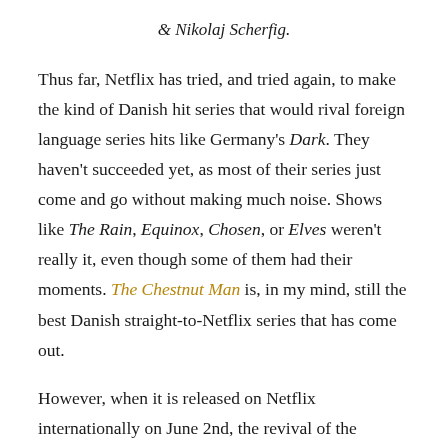& Nikolaj Scherfig.
Thus far, Netflix has tried, and tried again, to make the kind of Danish hit series that would rival foreign language series hits like Germany's Dark. They haven't succeeded yet, as most of their series just come and go without making much noise. Shows like The Rain, Equinox, Chosen, or Elves weren't really it, even though some of them had their moments. The Chestnut Man is, in my mind, still the best Danish straight-to-Netflix series that has come out.
However, when it is released on Netflix internationally on June 2nd, the revival of the Danish political fiction series and international